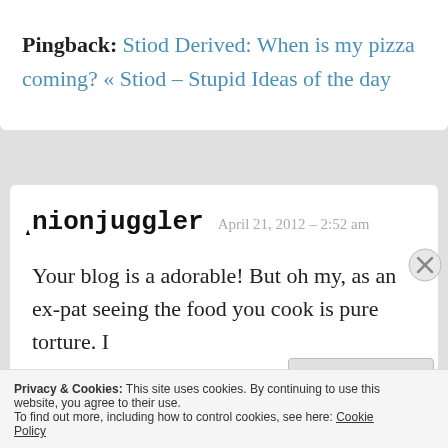Pingback: Stiod Derived: When is my pizza coming? « Stiod – Stupid Ideas of the day
Onionjuggler   April 21, 2012 – 2:52 am
Your blog is a adorable! But oh my, as an ex-pat seeing the food you cook is pure torture. I
Privacy & Cookies: This site uses cookies. By continuing to use this website, you agree to their use.
To find out more, including how to control cookies, see here: Cookie Policy